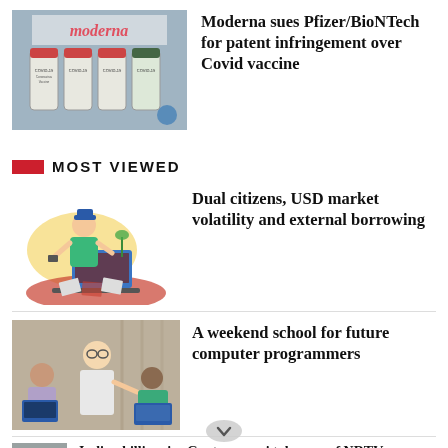[Figure (photo): Moderna COVID-19 vaccine vials on a table]
Moderna sues Pfizer/BioNTech for patent infringement over Covid vaccine
MOST VIEWED
[Figure (illustration): Illustration of a person working at a laptop with documents and a phone]
Dual citizens, USD market volatility and external borrowing
[Figure (photo): People in a classroom setting with laptops, an instructor pointing]
A weekend school for future computer programmers
Indian billionaire Gautam ... ni takeover of NDTV: